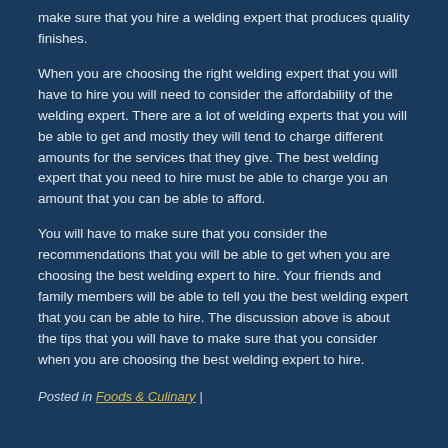make sure that you hire a welding expert that produces quality finishes.
When you are choosing the right welding expert that you will have to hire you will need to consider the affordability of the welding expert. There are a lot of welding experts that you will be able to get and mostly they will tend to charge different amounts for the services that they give. The best welding expert that you need to hire must be able to charge you an amount that you can be able to afford.
You will have to make sure that you consider the recommendations that you will be able to get when you are choosing the best welding expert to hire. Your friends and family members will be able to tell you the best welding expert that you can be able to hire. The discussion above is about the tips that you will have to make sure that you consider when you are choosing the best welding expert to hire.
Posted in Foods & Culinary |